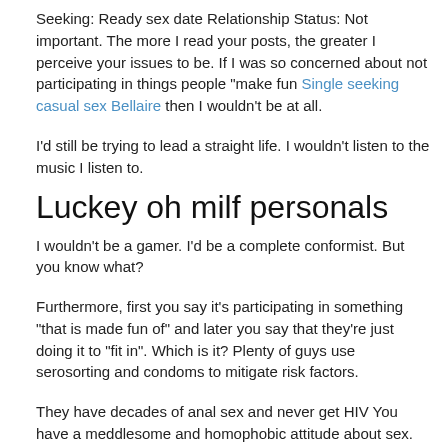Seeking: Ready sex date Relationship Status: Not important. The more I read your posts, the greater I perceive your issues to be. If I was so concerned about not participating in things people "make fun Single seeking casual sex Bellaire then I wouldn't be at all.
I'd still be trying to lead a straight life. I wouldn't listen to the music I listen to.
Luckey oh milf personals
I wouldn't be a gamer. I'd be a complete conformist. But you know what?
Furthermore, first you say it's participating in something "that is made fun of" and later you say that they're just doing it to "fit in". Which is it? Plenty of guys use serosorting and condoms to mitigate risk factors.
They have decades of anal sex and never get HIV You have a meddlesome and homophobic attitude about sex. Why Mature